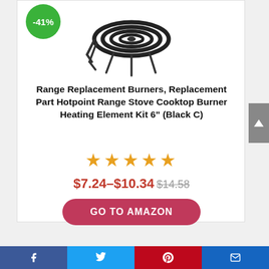[Figure (photo): Product image of a coiled stove burner heating element with a -41% discount badge in green circle]
Range Replacement Burners, Replacement Part Hotpoint Range Stove Cooktop Burner Heating Element Kit 6" (Black C)
★★★★★ (5 stars)
$7.24–$10.34 $14.58 (strikethrough)
GO TO AMAZON